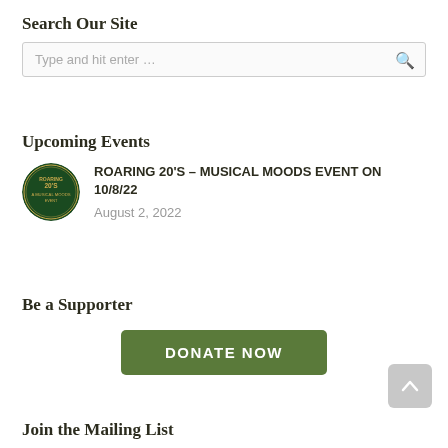Search Our Site
[Figure (screenshot): Search input box with placeholder text 'Type and hit enter...' and a search icon on the right]
Upcoming Events
[Figure (logo): Circular dark green logo for Roaring 20s Musical Moods event]
ROARING 20'S – MUSICAL MOODS EVENT ON 10/8/22
August 2, 2022
Be a Supporter
DONATE NOW
Join the Mailing List